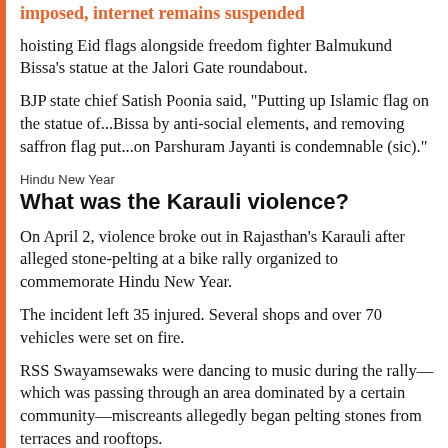imposed, internet remains suspended
hoisting Eid flags alongside freedom fighter Balmukund Bissa's statue at the Jalori Gate roundabout.
BJP state chief Satish Poonia said, "Putting up Islamic flag on the statue of...Bissa by anti-social elements, and removing saffron flag put...on Parshuram Jayanti is condemnable (sic)."
Hindu New Year
What was the Karauli violence?
On April 2, violence broke out in Rajasthan's Karauli after alleged stone-pelting at a bike rally organized to commemorate Hindu New Year.
The incident left 35 injured. Several shops and over 70 vehicles were set on fire.
RSS Swayamsewaks were dancing to music during the rally—which was passing through an area dominated by a certain community—miscreants allegedly began pelting stones from terraces and rooftops.